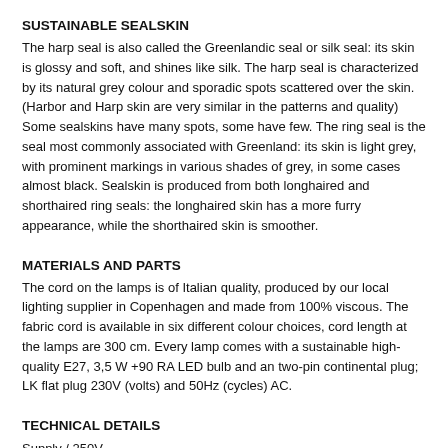SUSTAINABLE SEALSKIN
The harp seal is also called the Greenlandic seal or silk seal: its skin is glossy and soft, and shines like silk. The harp seal is characterized by its natural grey colour and sporadic spots scattered over the skin. (Harbor and Harp skin are very similar in the patterns and quality) Some sealskins have many spots, some have few. The ring seal is the seal most commonly associated with Greenland: its skin is light grey, with prominent markings in various shades of grey, in some cases almost black. Sealskin is produced from both longhaired and shorthaired ring seals: the longhaired skin has a more furry appearance, while the shorthaired skin is smoother.
MATERIALS AND PARTS
The cord on the lamps is of Italian quality, produced by our local lighting supplier in Copenhagen and made from 100% viscous. The fabric cord is available in six different colour choices, cord length at the lamps are 300 cm. Every lamp comes with a sustainable high-quality E27, 3,5 W +90 RA LED bulb and an two-pin continental plug; LK flat plug 230V (volts) and 50Hz (cycles) AC.
TECHNICAL DETAILS
Supply / 250V
Mounting type / Suspension
Environment / Indoor
Ingress protection (IP) /